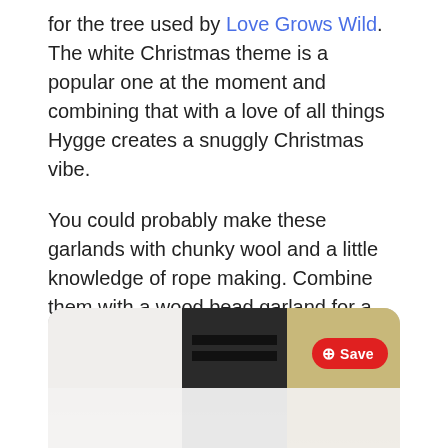for the tree used by Love Grows Wild. The white Christmas theme is a popular one at the moment and combining that with a love of all things Hygge creates a snuggly Christmas vibe.
You could probably make these garlands with chunky wool and a little knowledge of rope making. Combine them with a wood bead garland for a fantastic Scandi look.
Knitted Stocking Bannister Garlands
[Figure (photo): A partially visible photograph showing an interior scene with framed artwork on a dark wall, some Christmas greenery with gold decoration in the top right corner, and a red Pinterest Save button overlay in the upper right area.]